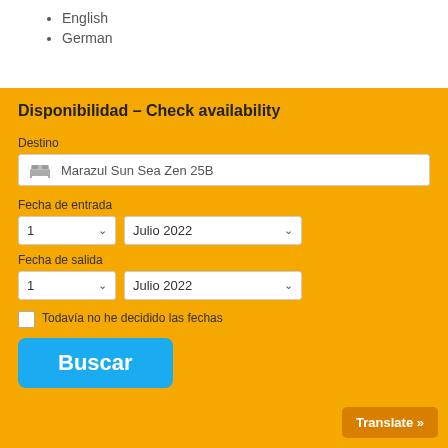English
German
Disponibilidad – Check availability
Destino
Marazul Sun Sea Zen 25B
Fecha de entrada
1
Julio 2022
Fecha de salida
1
Julio 2022
Todavía no he decidido las fechas
Buscar
Translate »